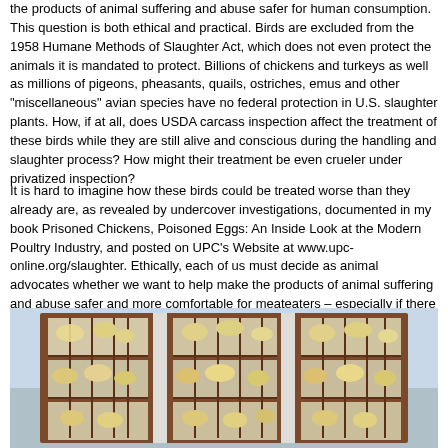the products of animal suffering and abuse safer for human consumption. This question is both ethical and practical. Birds are excluded from the 1958 Humane Methods of Slaughter Act, which does not even protect the animals it is mandated to protect. Billions of chickens and turkeys as well as millions of pigeons, pheasants, quails, ostriches, emus and other "miscellaneous" avian species have no federal protection in U.S. slaughter plants. How, if at all, does USDA carcass inspection affect the treatment of these birds while they are still alive and conscious during the handling and slaughter process? How might their treatment be even crueler under privatized inspection?
It is hard to imagine how these birds could be treated worse than they already are, as revealed by undercover investigations, documented in my book Prisoned Chickens, Poisoned Eggs: An Inside Look at the Modern Poultry Industry, and posted on UPC's Website at www.upc-online.org/slaughter. Ethically, each of us must decide as animal advocates whether we want to help make the products of animal suffering and abuse safer and more comfortable for meateaters – especially if there is no evidence that better carcass inspection results in less cruel treatment of the birds while they are living.
[Figure (photo): Photograph of chickens crowded into multi-tiered transport cages/crates with metal bars, showing poor conditions of poultry transport.]